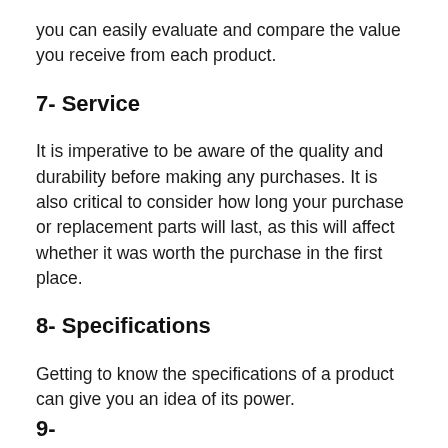you can easily evaluate and compare the value you receive from each product.
7- Service
It is imperative to be aware of the quality and durability before making any purchases. It is also critical to consider how long your purchase or replacement parts will last, as this will affect whether it was worth the purchase in the first place.
8- Specifications
Getting to know the specifications of a product can give you an idea of its power.
9-